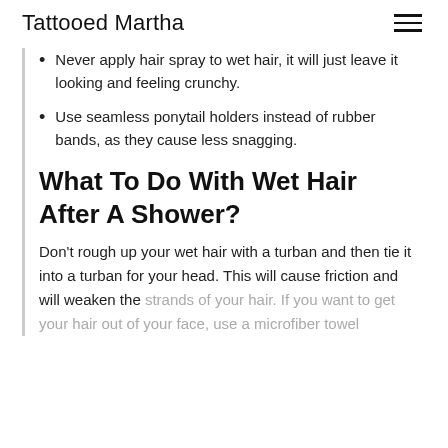Tattooed Martha
Never apply hair spray to wet hair, it will just leave it looking and feeling crunchy.
Use seamless ponytail holders instead of rubber bands, as they cause less snagging.
What To Do With Wet Hair After A Shower?
Don't rough up your wet hair with a turban and then tie it into a turban for your head. This will cause friction and will weaken the strands of your hair. If you want to get your hair out of your face, use a microfiber towel